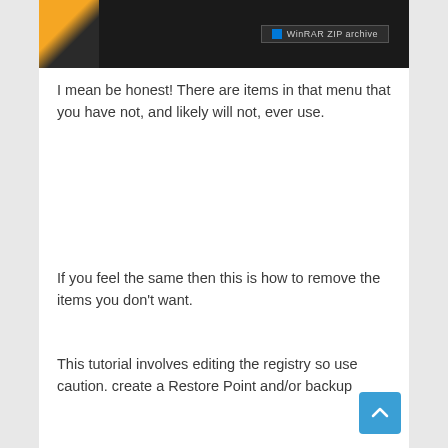[Figure (screenshot): Partial screenshot of a Windows context menu with dark background, showing a WinRAR ZIP archive option on the right side with a small Windows icon. Left side shows an orange and black gradient.]
I mean be honest! There are items in that menu that you have not, and likely will not, ever use.
If you feel the same then this is how to remove the items you don't want.
This tutorial involves editing the registry so use caution. create a Restore Point and/or backup